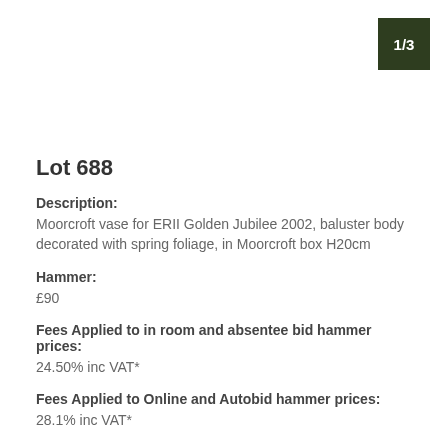1/3
Lot 688
Description:
Moorcroft vase for ERII Golden Jubilee 2002, baluster body decorated with spring foliage, in Moorcroft box H20cm
Hammer:
£90
Fees Applied to in room and absentee bid hammer prices:
24.50% inc VAT*
Fees Applied to Online and Autobid hammer prices:
28.1% inc VAT*